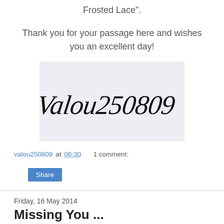Frosted Lace".
Thank you for your passage here and wishes you an excellent day!
[Figure (illustration): Handwritten cursive script signature reading 'Valou250809' on a light lavender/grey background]
valou250809 at 06:30    1 comment:
Share
Friday, 16 May 2014
Missing You ...